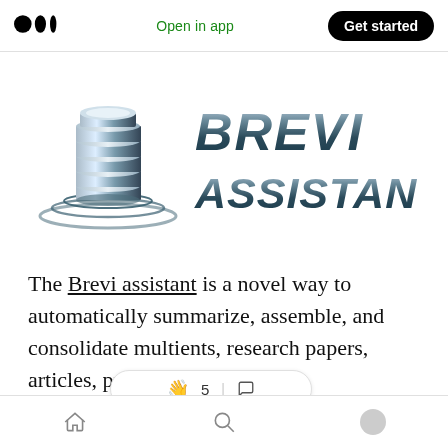Medium app header: logo, Open in app, Get started
[Figure (logo): Brevi Assistant logo — metallic stacked cylinders icon on the left, bold metallic 3D text 'BREVI ASSISTANT' on the right]
The Brevi assistant is a novel way to automatically summarize, assemble, and consolidate multi... ...ents, research papers, articles, pu..., reports, reviews,
Bottom navigation bar with home, search, and profile icons